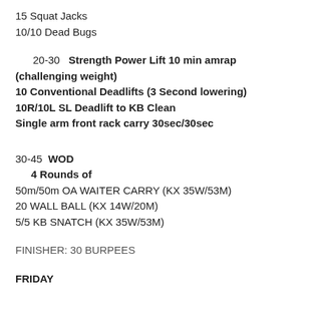15 Squat Jacks
10/10 Dead Bugs
20-30   Strength Power Lift 10 min amrap (challenging weight)
10 Conventional Deadlifts (3 Second lowering)
10R/10L SL Deadlift to KB Clean
Single arm front rack carry 30sec/30sec
30-45  WOD
4 Rounds of
50m/50m OA WAITER CARRY (KX 35W/53M)
20 WALL BALL (KX 14W/20M)
5/5 KB SNATCH (KX 35W/53M)
FINISHER: 30 BURPEES
FRIDAY